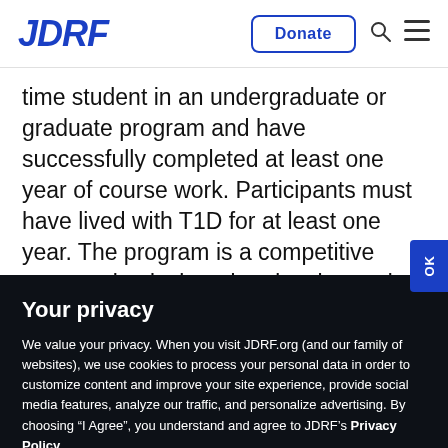JDRF | Donate
time student in an undergraduate or graduate program and have successfully completed at least one year of course work. Participants must have lived with T1D for at least one year. The program is a competitive opportunity designed to develop and train students to
Your privacy
We value your privacy. When you visit JDRF.org (and our family of websites), we use cookies to process your personal data in order to customize content and improve your site experience, provide social media features, analyze our traffic, and personalize advertising. By choosing “I Agree”, you understand and agree to JDRF’s Privacy Policy.
I Decline
I Agree